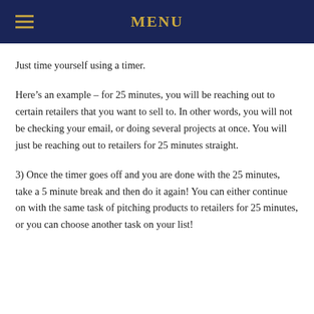MENU
Just time yourself using a timer.
Here’s an example – for 25 minutes, you will be reaching out to certain retailers that you want to sell to. In other words, you will not be checking your email, or doing several projects at once. You will just be reaching out to retailers for 25 minutes straight.
3) Once the timer goes off and you are done with the 25 minutes, take a 5 minute break and then do it again! You can either continue on with the same task of pitching products to retailers for 25 minutes, or you can choose another task on your list!